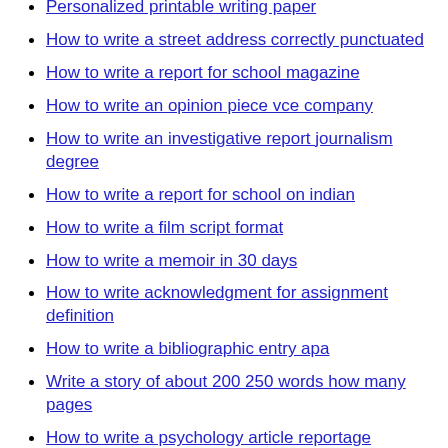Personalized printable writing paper
How to write a street address correctly punctuated
How to write a report for school magazine
How to write an opinion piece vce company
How to write an investigative report journalism degree
How to write a report for school on indian
How to write a film script format
How to write a memoir in 30 days
How to write acknowledgment for assignment definition
How to write a bibliographic entry apa
Write a story of about 200 250 words how many pages
How to write a psychology article reportage
Epr writing afi
How to write an amazing pop song
Write a report on a woodwind flute